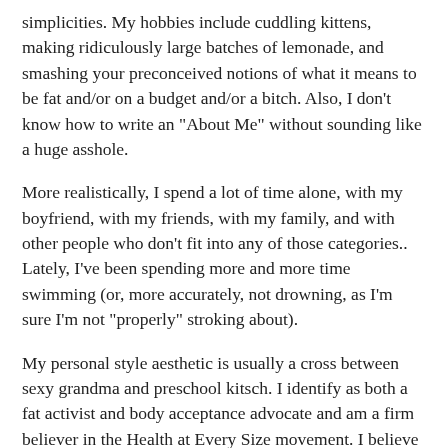simplicities. My hobbies include cuddling kittens, making ridiculously large batches of lemonade, and smashing your preconceived notions of what it means to be fat and/or on a budget and/or a bitch. Also, I don't know how to write an "About Me" without sounding like a huge asshole.
More realistically, I spend a lot of time alone, with my boyfriend, with my friends, with my family, and with other people who don't fit into any of those categories.. Lately, I've been spending more and more time swimming (or, more accurately, not drowning, as I'm sure I'm not "properly" stroking about).
My personal style aesthetic is usually a cross between sexy grandma and preschool kitsch. I identify as both a fat activist and body acceptance advocate and am a firm believer in the Health at Every Size movement. I believe that every person, no matter their shape or their size, has value and the right to feel good about themselves. I'm also a feminist and a self-proclaimed lefty loosey.
You can contact me via email (sparklingwhine@gmail.com) with any questions, comments, concerns, business propositions, or exciting Viagra male enhancement offers.